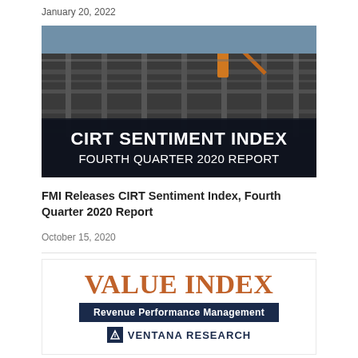January 20, 2022
[Figure (photo): Construction site with steel framework and cranes, with overlay text: CIRT SENTIMENT INDEX FOURTH QUARTER 2020 REPORT]
FMI Releases CIRT Sentiment Index, Fourth Quarter 2020 Report
October 15, 2020
[Figure (logo): VALUE INDEX / Revenue Performance Management / Ventana Research logo block]